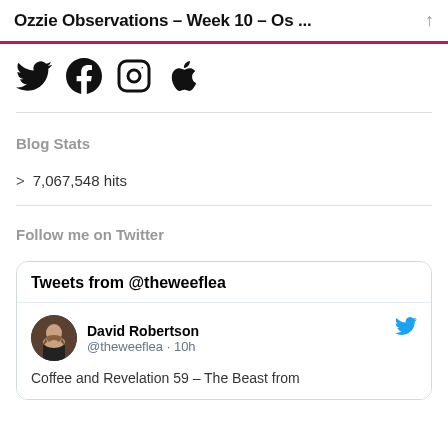Ozzie Observations – Week 10 – Os ...
[Figure (logo): Social media icons: Twitter bird, Facebook logo, Instagram camera, Apple logo]
Blog Stats
7,067,548 hits
Follow me on Twitter
Tweets from @theweeflea
David Robertson @theweeflea · 10h
Coffee and Revelation 59 – The Beast from